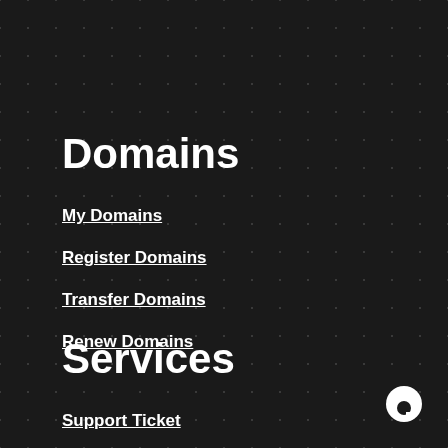Domains
My Domains
Register Domains
Transfer Domains
Renew Domains
Services
Support Ticket